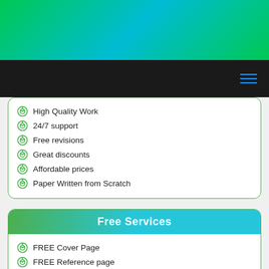[Figure (other): Green gradient header banner]
[Figure (other): Dark navigation bar with blue hamburger menu icon]
High Quality Work
24/7 support
Free revisions
Great discounts
Affordable prices
Paper Written from Scratch
Free Services
FREE Cover Page
FREE Reference page
FREE Table of Contents
FREE amendments and Revisions